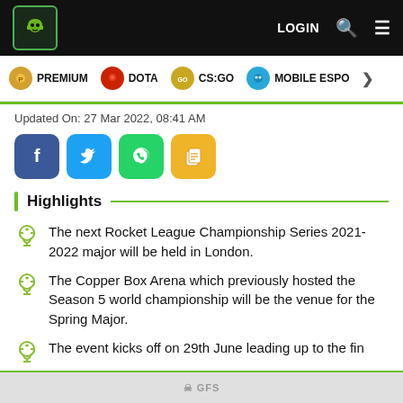LOGIN [search] [menu]
[Figure (screenshot): Navigation bar with category icons: PREMIUM, DOTA, CS:GO, MOBILE ESPO>]
Updated On: 27 Mar 2022, 08:41 AM
[Figure (infographic): Social share buttons: Facebook, Twitter, WhatsApp, Copy]
Highlights
The next Rocket League Championship Series 2021-2022 major will be held in London.
The Copper Box Arena which previously hosted the Season 5 world championship will be the venue for the Spring Major.
The event kicks off on 29th June leading up to the fin